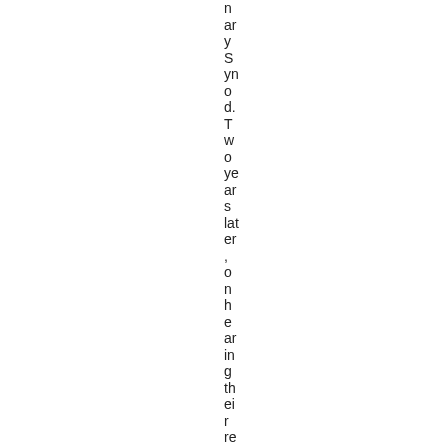n ar y S yn o d. T w o ye ar s lat er , o n h e ar in g th ei r re p or t,